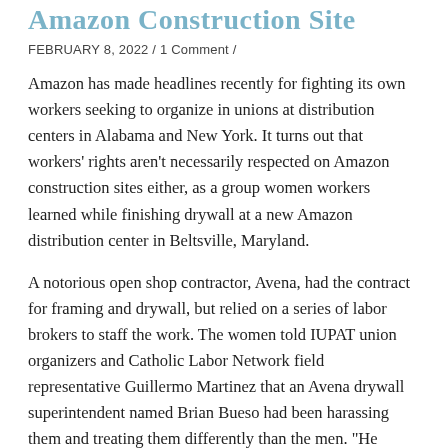Amazon Construction Site
FEBRUARY 8, 2022 / 1 Comment /
Amazon has made headlines recently for fighting its own workers seeking to organize in unions at distribution centers in Alabama and New York. It turns out that workers' rights aren't necessarily respected on Amazon construction sites either, as a group women workers learned while finishing drywall at a new Amazon distribution center in Beltsville, Maryland.
A notorious open shop contractor, Avena, had the contract for framing and drywall, but relied on a series of labor brokers to staff the work. The women told IUPAT union organizers and Catholic Labor Network field representative Guillermo Martinez that an Avena drywall superintendent named Brian Bueso had been harassing them and treating them differently than the men. "He would follow…"